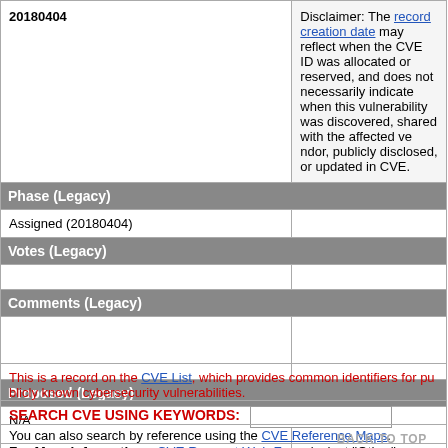| Date | Disclaimer |
| --- | --- |
| 20180404 | Disclaimer: The record creation date may reflect when the CVE ID was allocated or reserved, and does not necessarily indicate when this vulnerability was discovered, shared with the affected vendor, publicly disclosed, or updated in CVE. |
| Phase (Legacy) |  |
| Assigned (20180404) |  |
| Votes (Legacy) |  |
|  |  |
| Comments (Legacy) |  |
|  |  |
| Proposed (Legacy) |  |
| N/A |  |
This is a record on the CVE List, which provides common identifiers for publicly known cybersecurity vulnerabilities.
SEARCH CVE USING KEYWORDS:
You can also search by reference using the CVE Reference Maps.
For More Information: CVE Request Web Form (select "Other"